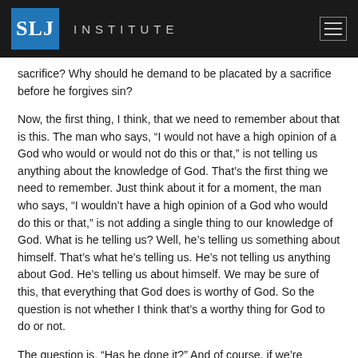SLJ INSTITUTE
sacrifice? Why should he demand to be placated by a sacrifice before he forgives sin?
Now, the first thing, I think, that we need to remember about that is this. The man who says, “I would not have a high opinion of a God who would or would not do this or that,” is not telling us anything about the knowledge of God. That’s the first thing we need to remember. Just think about it for a moment, the man who says, “I wouldn’t have a high opinion of a God who would do this or that,” is not adding a single thing to our knowledge of God. What is he telling us? Well, he’s telling us something about himself. That’s what he’s telling us. He’s not telling us anything about God. He’s telling us about himself. We may be sure of this, that everything that God does is worthy of God. So the question is not whether I think that’s a worthy thing for God to do or not.
The question is, “Has he done it?” And of course, if we’re thinking about Scriptural things and we’re thinking about the Bible as the